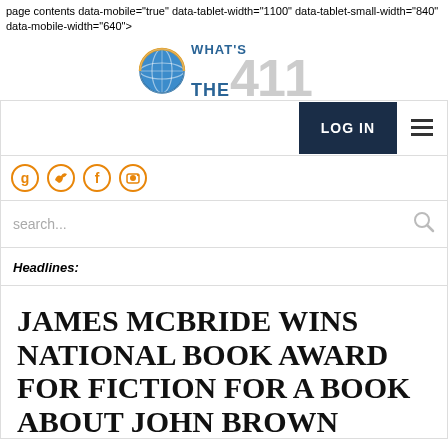page contents data-mobile="true" data-tablet-width="1100" data-tablet-small-width="840" data-mobile-width="640">
[Figure (logo): What's The 411 logo with globe icon and stylized text]
LOG IN
search...
Headlines:
JAMES MCBRIDE WINS NATIONAL BOOK AWARD FOR FICTION FOR A BOOK ABOUT JOHN BROWN